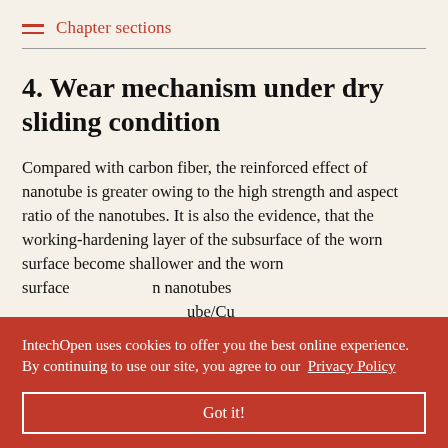Chapter sections
4. Wear mechanism under dry sliding condition
Compared with carbon fiber, the reinforced effect of nanotube is greater owing to the high strength and aspect ratio of the nanotubes. It is also the evidence, that the working-hardening layer of the subsurface of the worn surface become shallower and the worn … nanotubes … ube/Cu … ube/Cu … tion and … forced … operties.
IntechOpen uses cookies to offer you the best online experience. By continuing to use our site, you agree to our Privacy Policy
Got it!